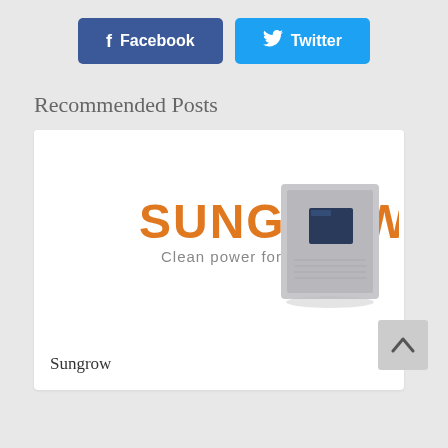[Figure (screenshot): Facebook and Twitter social share buttons. Facebook button is dark blue with 'f' icon and text 'Facebook'. Twitter button is light blue with bird icon and text 'Twitter'.]
Recommended Posts
[Figure (photo): Sungrow logo with 'Clean power for all' tagline and a gray solar inverter unit on the right.]
Sungrow